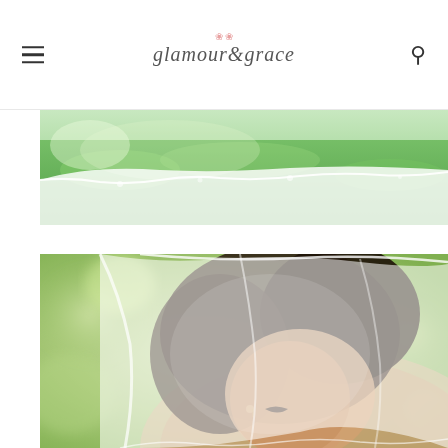glamour & grace — navigation header with hamburger menu and search icon
[Figure (photo): Top portion of a wedding scene showing a white bridal gown train laid out on green grass in bright sunlight]
[Figure (photo): Close-up portrait of a bride with dark hair, eyes closed, draped in a sheer white wedding veil covering her face, blurred green bokeh background]